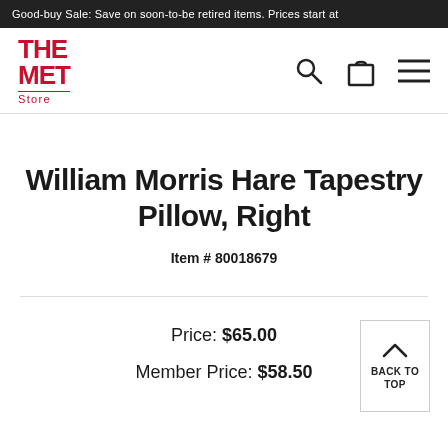Good-buy Sale: Save on soon-to-be retired items. Prices start at
[Figure (logo): The Met Store logo in red]
William Morris Hare Tapestry Pillow, Right
Item # 80018679
Price: $65.00
Member Price: $58.50